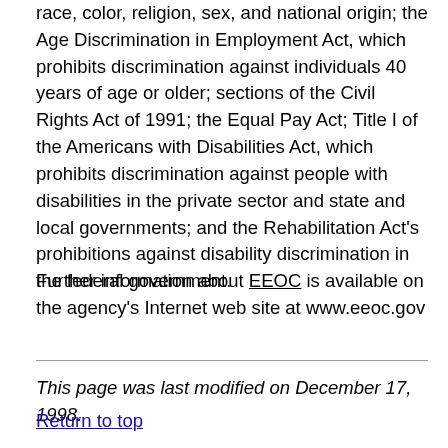race, color, religion, sex, and national origin; the Age Discrimination in Employment Act, which prohibits discrimination against individuals 40 years of age or older; sections of the Civil Rights Act of 1991; the Equal Pay Act; Title I of the Americans with Disabilities Act, which prohibits discrimination against people with disabilities in the private sector and state and local governments; and the Rehabilitation Act's prohibitions against disability discrimination in the federal government.
Further information about EEOC is available on the agency's Internet web site at www.eeoc.gov
This page was last modified on December 17, 1998.
Return to top